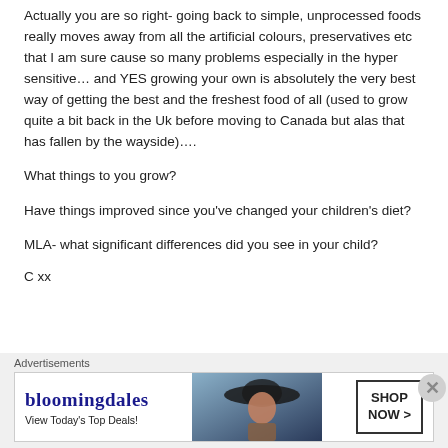Actually you are so right- going back to simple, unprocessed foods really moves away from all the artificial colours, preservatives etc that I am sure cause so many problems especially in the hyper sensitive… and YES growing your own is absolutely the very best way of getting the best and the freshest food of all (used to grow quite a bit back in the Uk before moving to Canada but alas that has fallen by the wayside)….
What things to you grow?
Have things improved since you've changed your children's diet?
MLA- what significant differences did you see in your child?
C xx
Advertisements
[Figure (other): Bloomingdales advertisement banner with logo, 'View Today's Top Deals!' text, woman in hat image, and 'SHOP NOW >' button]